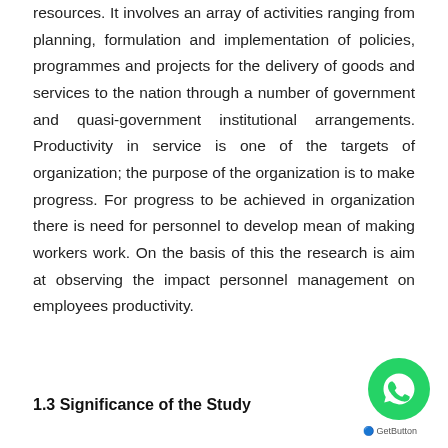resources. It involves an array of activities ranging from planning, formulation and implementation of policies, programmes and projects for the delivery of goods and services to the nation through a number of government and quasi-government institutional arrangements. Productivity in service is one of the targets of organization; the purpose of the organization is to make progress. For progress to be achieved in organization there is need for personnel to develop mean of making workers work. On the basis of this the research is aim at observing the impact personnel management on employees productivity.
1.3 Significance of the Study